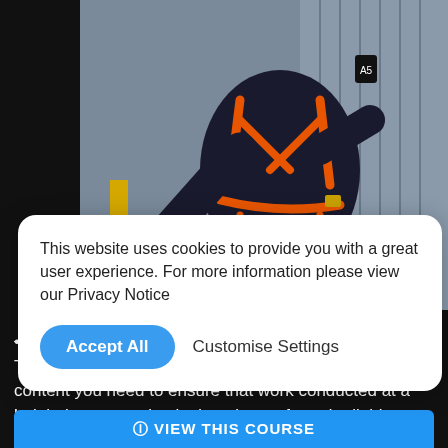[Figure (photo): Worker wearing orange safety harness attaching a carabiner clip to a yellow barrier rail, working at height. Black gloves visible. Industrial rooftop background.]
This website uses cookies to provide you with a great user experience. For more information please view our Privacy Notice
Accept All   Customise Settings
• self-directed learning and activities • final assessment. This essential CPD course provides you with the core content you need to ensure that work conducted at a height in your setting is done in a safe and reliable manner and follows the relevant legal framework.
VIEW THIS COURSE